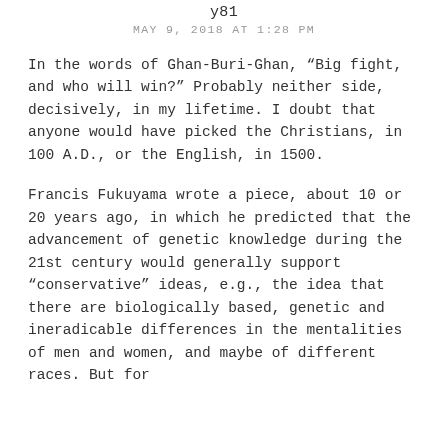y81
MAY 9, 2018 AT 1:28 PM
In the words of Ghan-Buri-Ghan, “Big fight, and who will win?” Probably neither side, decisively, in my lifetime. I doubt that anyone would have picked the Christians, in 100 A.D., or the English, in 1500.
Francis Fukuyama wrote a piece, about 10 or 20 years ago, in which he predicted that the advancement of genetic knowledge during the 21st century would generally support “conservative” ideas, e.g., the idea that there are biologically based, genetic and ineradicable differences in the mentalities of men and women, and maybe of different races. But for